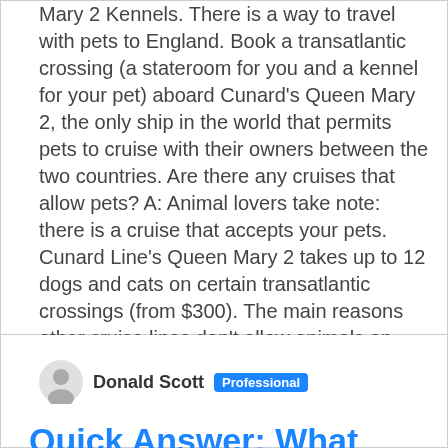Mary 2 Kennels. There is a way to travel with pets to England. Book a transatlantic crossing (a stateroom for you and a kennel for your pet) aboard Cunard's Queen Mary 2, the only ship in the world that permits pets to cruise with their owners between the two countries. Are there any cruises that allow pets? A: Animal lovers take note: there is a cruise that accepts your pets. Cunard Line's Queen Mary 2 takes up to 12 dogs and cats on certain transatlantic crossings (from $300). The main reasons other cruise lines don't allow animals on board: hygiene—ships have strict sanitation…
Donald Scott Professional
Quick Answer: What Toilets Do Plumbers Recommend?